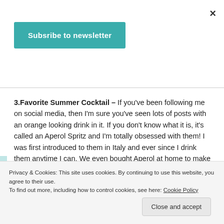×
Subsribe to newsletter
3.Favorite Summer Cocktail – If you've been following me on social media, then I'm sure you've seen lots of posts with an orange looking drink in it. If you don't know what it is, it's called an Aperol Spritz and I'm totally obsessed with them! I was first introduced to them in Italy and ever since I drink them anytime I can. We even bought Aperol at home to make them! They are the most refreshing drink for summer days or nights, but be careful- they are SUPER easy
Privacy & Cookies: This site uses cookies. By continuing to use this website, you agree to their use.
To find out more, including how to control cookies, see here: Cookie Policy
Close and accept